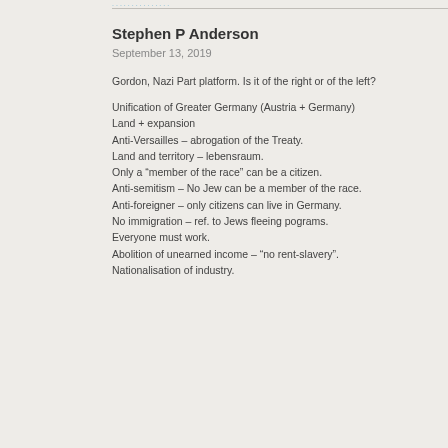Stephen P Anderson
September 13, 2019
Gordon, Nazi Part platform. Is it of the right or of the left?
Unification of Greater Germany (Austria + Germany)
Land + expansion
Anti-Versailles – abrogation of the Treaty.
Land and territory – lebensraum.
Only a “member of the race” can be a citizen.
Anti-semitism – No Jew can be a member of the race.
Anti-foreigner – only citizens can live in Germany.
No immigration – ref. to Jews fleeing pograms.
Everyone must work.
Abolition of unearned income – “no rent-slavery”.
Nationalisation of industry.